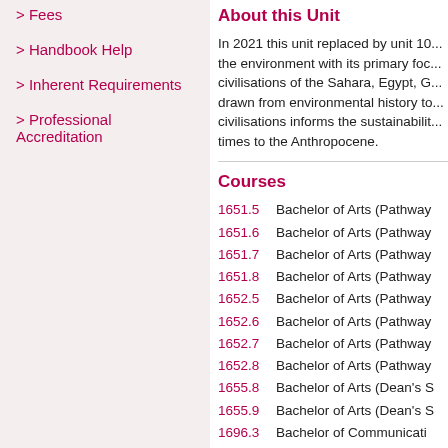> Fees
> Handbook Help
> Inherent Requirements
> Professional Accreditation
About this Unit
In 2021 this unit replaced by unit 10... the environment with its primary foc... civilisations of the Sahara, Egypt, G... drawn from environmental history to... civilisations informs the sustainabilit... times to the Anthropocene.
Courses
1651.5   Bachelor of Arts (Pathway...
1651.6   Bachelor of Arts (Pathway...
1651.7   Bachelor of Arts (Pathway...
1651.8   Bachelor of Arts (Pathway...
1652.5   Bachelor of Arts (Pathway...
1652.6   Bachelor of Arts (Pathway...
1652.7   Bachelor of Arts (Pathway...
1652.8   Bachelor of Arts (Pathway...
1655.8   Bachelor of Arts (Dean's ...
1655.9   Bachelor of Arts (Dean's ...
1696.3   Bachelor of Communicati...
1696.4   Bachelor of Communicati...
1706.1   Bachelor of Arts
1706.2   Bachelor of Arts
1706.3   Bachelor of Arts